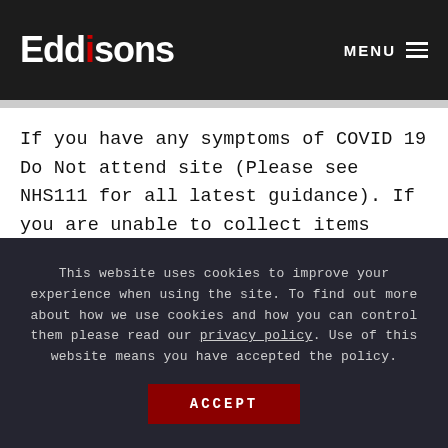Eddisons | MENU
If you have any symptoms of COVID 19 Do Not attend site (Please see NHS111 for all latest guidance). If you are unable to collect items purchased in an auction due to Isolation or Illness, please arrange alternative arrangements where possible and we will
This website uses cookies to improve your experience when using the site. To find out more about how we use cookies and how you can control them please read our privacy policy. Use of this website means you have accepted the policy.
ACCEPT